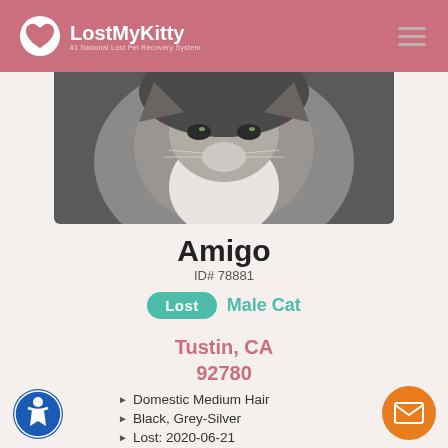LostMyKitty — #1 National Lost Pet Recovery System
[Figure (photo): Close-up photo of a fluffy grey and white cat, showing its face and chest fur]
Amigo
ID# 78881
Lost  Male Cat
Tustin, CA 92780
Domestic Medium Hair
Black, Grey-Silver
Lost: 2020-06-21